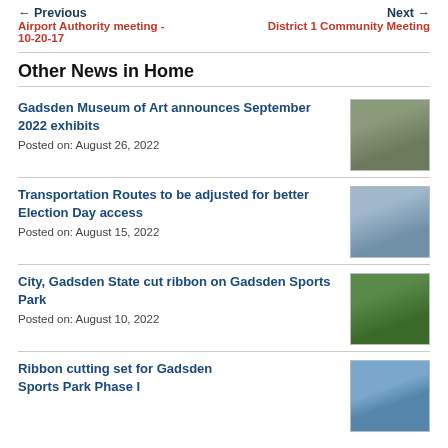← Previous   Airport Authority meeting - 10-20-17     Next →   District 1 Community Meeting
Other News in Home
Gadsden Museum of Art announces September 2022 exhibits
Posted on: August 26, 2022
[Figure (photo): Exterior of a historic building with cows in foreground]
Transportation Routes to be adjusted for better Election Day access
Posted on: August 15, 2022
[Figure (photo): A large transportation bus or truck on the road]
City, Gadsden State cut ribbon on Gadsden Sports Park
Posted on: August 10, 2022
[Figure (photo): Sports park with green field and pink ball]
Ribbon cutting set for Gadsden Sports Park Phase I
[Figure (photo): Aerial or wide view of sports facility with sky]